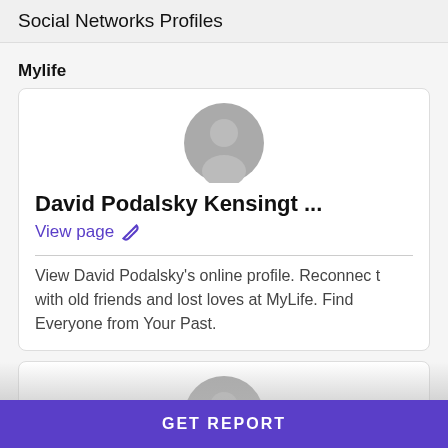Social Networks Profiles
Mylife
[Figure (illustration): Gray default user avatar circle icon for David Podalsky]
David Podalsky Kensingt ...
View page 🔗
View David Podalsky's online profile. Reconnect with old friends and lost loves at MyLife. Find Everyone from Your Past.
[Figure (illustration): Gray default user avatar circle icon for Gregg Podalsky]
Gregg Podalsky West Fl...
GET REPORT